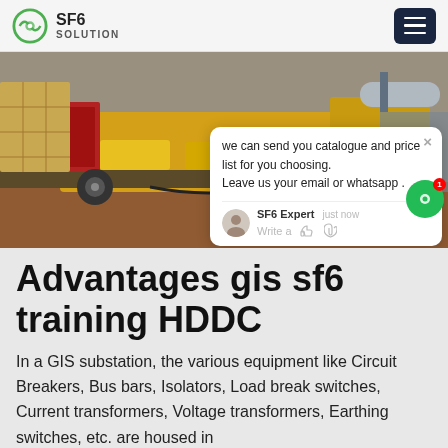SF6 SOLUTION
[Figure (photo): Industrial flatbed truck loaded with yellow and red equipment boxes, cables on ground, construction site background with crane and cylinder]
we can send you catalogue and price list for you choosing.
Leave us your email or whatsapp .
SF6 Expert   just now
Write a
Advantages gis sf6 training HDDC
In a GIS substation, the various equipment like Circuit Breakers, Bus bars, Isolators, Load break switches, Current transformers, Voltage transformers, Earthing switches, etc. are housed in